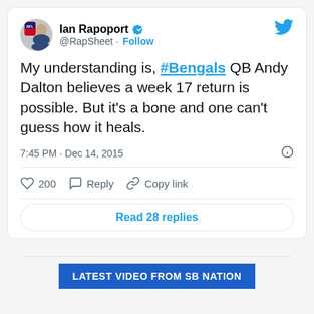[Figure (screenshot): Tweet from Ian Rapoport (@RapSheet) with verified badge and Twitter logo. Avatar shows NFL Network profile photo.]
Ian Rapoport @RapSheet · Follow
My understanding is, #Bengals QB Andy Dalton believes a week 17 return is possible. But it's a bone and one can't guess how it heals.
7:45 PM · Dec 14, 2015
200  Reply  Copy link
Read 28 replies
LATEST VIDEO FROM SB NATION